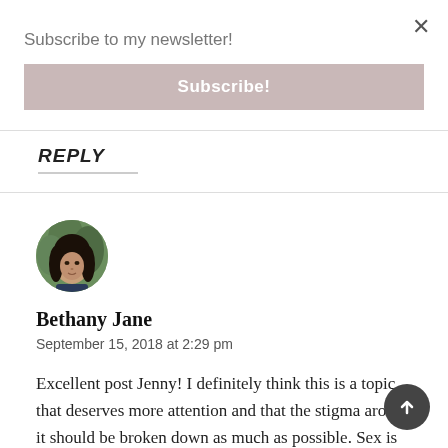Subscribe to my newsletter!
Subscribe!
REPLY
[Figure (photo): Circular avatar photo of Bethany Jane, a woman with dark hair, against a green leafy background]
Bethany Jane
September 15, 2018 at 2:29 pm
Excellent post Jenny! I definitely think this is a topic that deserves more attention and that the stigma around it should be broken down as much as possible. Sex is something most people enjoy doing,